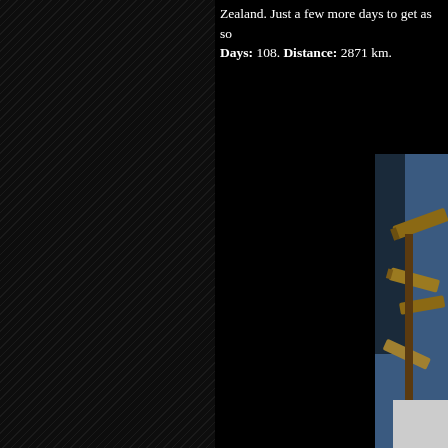Zealand. Just a few more days to get as so... Days: 108. Distance: 2871 km.
[Figure (photo): Partially visible photograph showing what appears to be a signpost with wooden directional signs against a blue sky background, with a motorcycle or similar vehicle visible at the bottom on a flat surface. The image is cropped on the right edge of the page.]